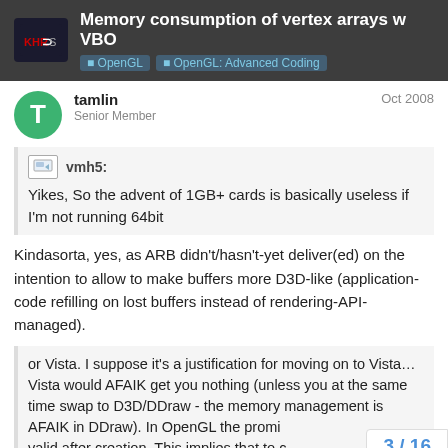Memory consumption of vertex arrays w VBO | OpenGL | OpenGL: Advanced Coding
tamlin  Senior Member  Oct 2008
vmh5:
Yikes, So the advent of 1GB+ cards is basically useless if I'm not running 64bit
Kindasorta, yes, as ARB didn't/hasn't-yet deliver(ed) on the intention to allow to make buffers more D3D-like (application-code refilling on lost buffers instead of rendering-API-managed).
or Vista. I suppose it's a justification for moving on to Vista…
Vista would AFAIK get you nothing (unless you at the same time swap to D3D/DDraw - the memory management is AFAIK in DDraw). In OpenGL the promi
valid after creation. This implies that to c
3 / 16